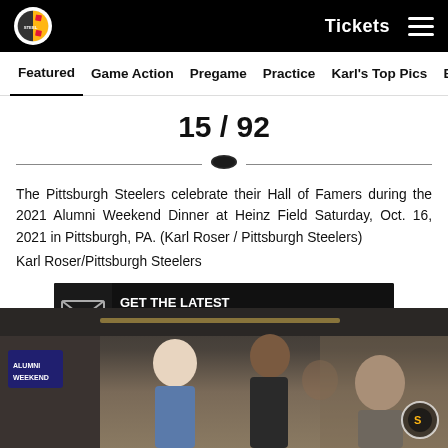Pittsburgh Steelers website header with logo, Tickets link, and hamburger menu
Featured | Game Action | Pregame | Practice | Karl's Top Pics | B
15 / 92
The Pittsburgh Steelers celebrate their Hall of Famers during the 2021 Alumni Weekend Dinner at Heinz Field Saturday, Oct. 16, 2021 in Pittsburgh, PA. (Karl Roser / Pittsburgh Steelers)
Karl Roser/Pittsburgh Steelers
[Figure (infographic): Advertisement banner: GET THE LATEST STEELERS NEWS DELIVERED STRAIGHT TO YOUR INBOX SUBSCRIBE NOW]
[Figure (photo): Photo of Pittsburgh Steelers Hall of Famers at the 2021 Alumni Weekend Dinner at Heinz Field]